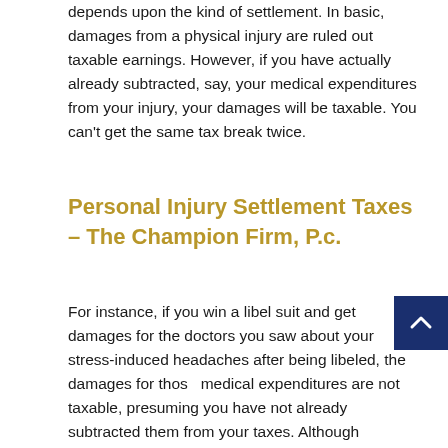depends upon the kind of settlement. In basic, damages from a physical injury are ruled out taxable earnings. However, if you have actually already subtracted, say, your medical expenditures from your injury, your damages will be taxable. You can't get the same tax break twice.
Personal Injury Settlement Taxes – The Champion Firm, P.c.
For instance, if you win a libel suit and get damages for the doctors you saw about your stress-induced headaches after being libeled, the damages for those medical expenditures are not taxable, presuming you have not already subtracted them from your taxes. Although emotional distress damages are typically taxable, an exception arises if the emotional distress stems from a physical injury or manifests in physical